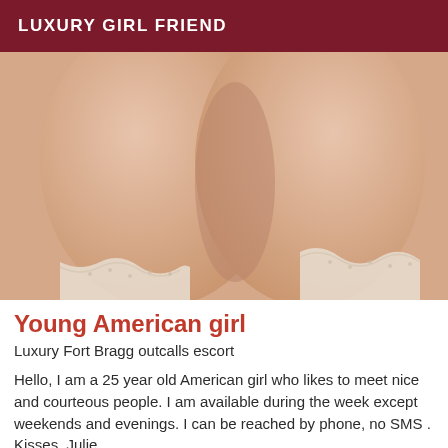LUXURY GIRL FRIEND
[Figure (photo): Close-up photo of a person wearing white lace lingerie]
Young American girl
Luxury Fort Bragg outcalls escort
Hello, I am a 25 year old American girl who likes to meet nice and courteous people. I am available during the week except weekends and evenings. I can be reached by phone, no SMS . Kisses, Julie